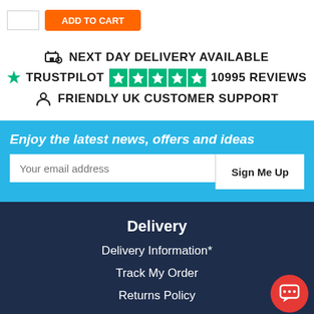[Figure (screenshot): Quantity input box and orange Add to Cart button]
🚚 NEXT DAY DELIVERY AVAILABLE
★ TRUSTPILOT ★★★★★ 10995 REVIEWS
👤 FRIENDLY UK CUSTOMER SUPPORT
Enjoy the latest news, offers and ideas
Your email address
Sign Me Up
Delivery
Delivery Information*
Track My Order
Returns Policy